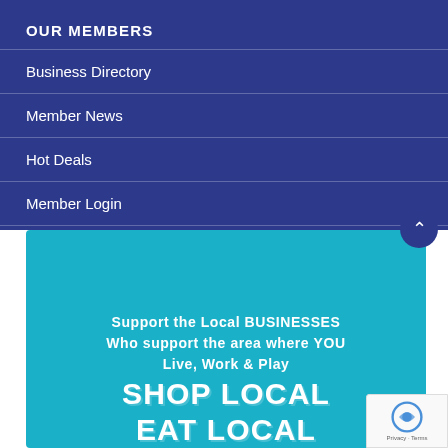OUR MEMBERS
Business Directory
Member News
Hot Deals
Member Login
[Figure (infographic): Teal/cyan promotional banner with text: 'Support the Local BUSINESSES Who support the area where YOU Live, Work & Play' and large bold text 'SHOP LOCAL EAT LOCAL']